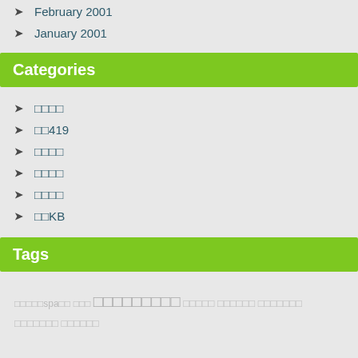February 2001
January 2001
Categories
□□□□
□□419
□□□□
□□□□
□□□□
□□KB
Tags
□□□□□spa□□ □□□ □□□□□□□□□ □□□□□ □□□□□□ □□□□□□□ □□□□□□□ □□□□□□